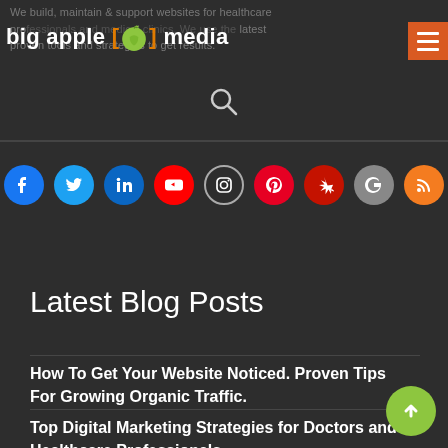We build, maintain & support websites for healthcare providers and medical clinics. We use the latest proven tools and strategies to get results.
[Figure (logo): Big Apple Media logo with green apple icon and orange brackets, with hamburger menu button in orange on the right]
[Figure (infographic): Row of 9 social media icons: Facebook, Twitter, LinkedIn, YouTube, Instagram, Pinterest, Yelp, Google, RSS]
Latest Blog Posts
How To Get Your Website Noticed. Proven Tips For Growing Organic Traffic.
Top Digital Marketing Strategies for Doctors and Healthcare Professionals